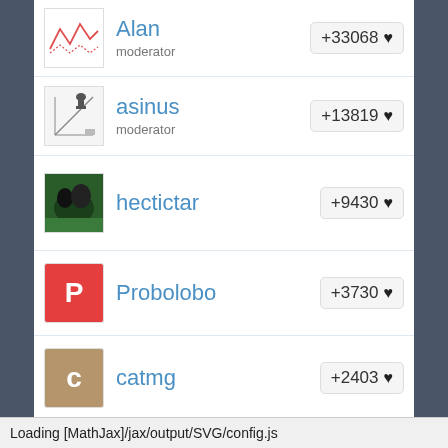Alan moderator +33068
asinus moderator +13819
hectictar +9430
Probolobo +3730
catmg +2403
GingerAle +2391
BuilderBoi +2361
CalTheGreat +2104
Loading [MathJax]/jax/output/SVG/config.js